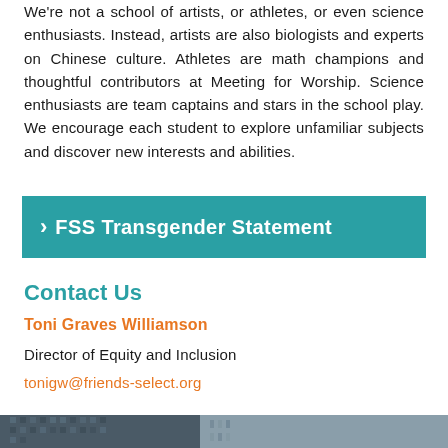We're not a school of artists, or athletes, or even science enthusiasts. Instead, artists are also biologists and experts on Chinese culture. Athletes are math champions and thoughtful contributors at Meeting for Worship. Science enthusiasts are team captains and stars in the school play. We encourage each student to explore unfamiliar subjects and discover new interests and abilities.
FSS Transgender Statement
Contact Us
Toni Graves Williamson
Director of Equity and Inclusion
tonigw@friends-select.org
[Figure (photo): Photograph of urban buildings/skyscrapers at the bottom of the page]